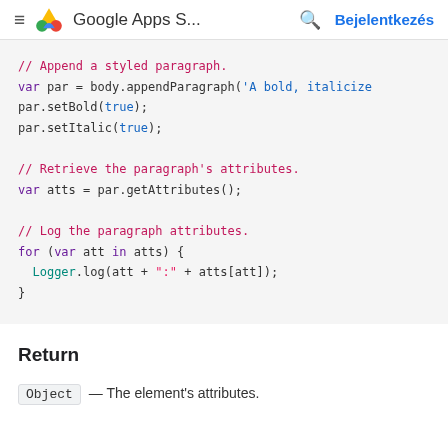≡ Google Apps S... 🔍 Bejelentkezés
[Figure (screenshot): Code block showing JavaScript: comment '// Append a styled paragraph.', var par = body.appendParagraph('A bold, italicize...'), par.setBold(true);, par.setItalic(true);, blank line, comment '// Retrieve the paragraph's attributes.', var atts = par.getAttributes();, blank line, comment '// Log the paragraph attributes.', for (var att in atts) {, Logger.log(att + ":" + atts[att]);, }]
Return
Object — The element's attributes.